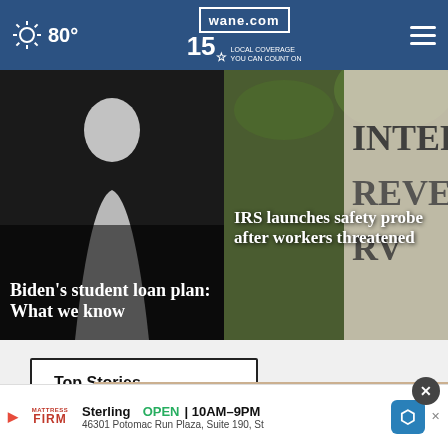wane.com — 15 LOCAL COVERAGE YOU CAN COUNT ON — 80°
[Figure (photo): News card: silhouette figure on dark background with text overlay 'Biden's student loan plan: What we know']
Biden's student loan plan: What we know
[Figure (photo): News card: IRS building/sign background with text overlay 'IRS launches safety probe after workers threatened']
IRS launches safety probe after workers threatened
Top Stories ›
[Figure (photo): Bottom image strip showing partial product/lifestyle photo]
Sterling OPEN | 10AM–9PM — 46301 Potomac Run Plaza, Suite 190, St — Advertisement